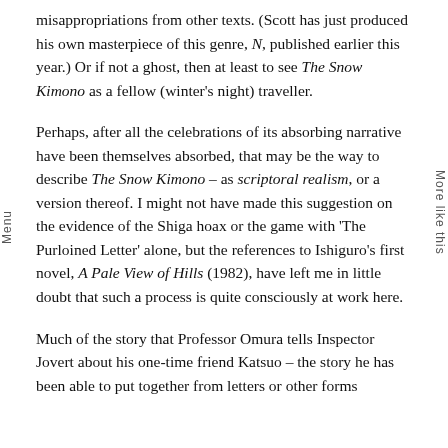misappropriations from other texts. (Scott has just produced his own masterpiece of this genre, N, published earlier this year.) Or if not a ghost, then at least to see The Snow Kimono as a fellow (winter's night) traveller.
Perhaps, after all the celebrations of its absorbing narrative have been themselves absorbed, that may be the way to describe The Snow Kimono – as scriptoral realism, or a version thereof. I might not have made this suggestion on the evidence of the Shiga hoax or the game with 'The Purloined Letter' alone, but the references to Ishiguro's first novel, A Pale View of Hills (1982), have left me in little doubt that such a process is quite consciously at work here.
Much of the story that Professor Omura tells Inspector Jovert about his one-time friend Katsuo – the story he has been able to put together from letters or other forms